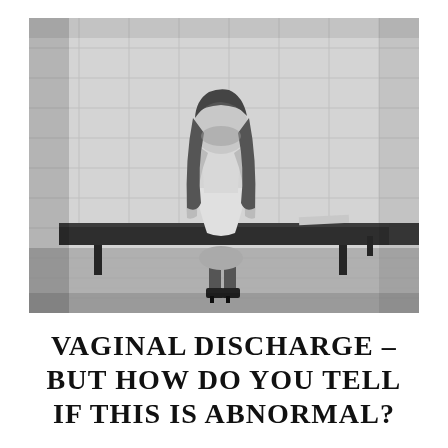[Figure (photo): Black and white photograph of a young woman with long hair sitting hunched over on a bench against a tiled wall, head bowed down, wearing a white dress and black heels. The setting appears to be a waiting room or clinical environment.]
VAGINAL DISCHARGE – BUT HOW DO YOU TELL IF THIS IS ABNORMAL?